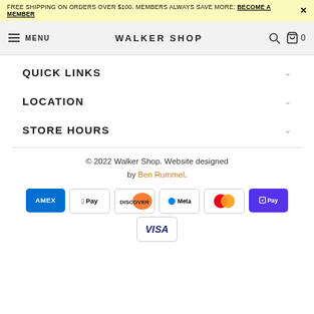FREE SHIPPING ON ORDERS OVER $100. MEMBERS ALWAYS SAVE MORE: BECOME A MEMBER
MENU  WALKER SHOP  0
QUICK LINKS
LOCATION
STORE HOURS
© 2022 Walker Shop. Website designed by Ben Rummel.
[Figure (other): Payment method icons: AMEX, Apple Pay, Discover, Meta, Mastercard, Shop Pay, Visa]